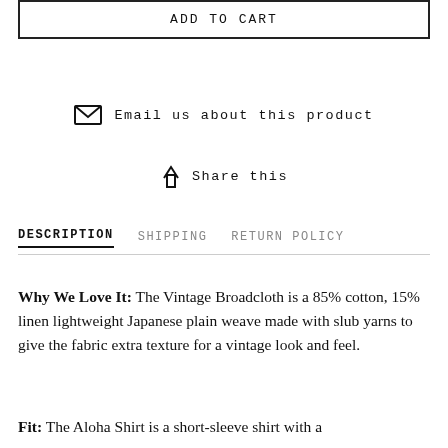ADD TO CART
Email us about this product
Share this
DESCRIPTION  SHIPPING  RETURN POLICY
Why We Love It: The Vintage Broadcloth is a 85% cotton, 15% linen lightweight Japanese plain weave made with slub yarns to give the fabric extra texture for a vintage look and feel.
Fit: The Aloha Shirt is a short-sleeve shirt with a